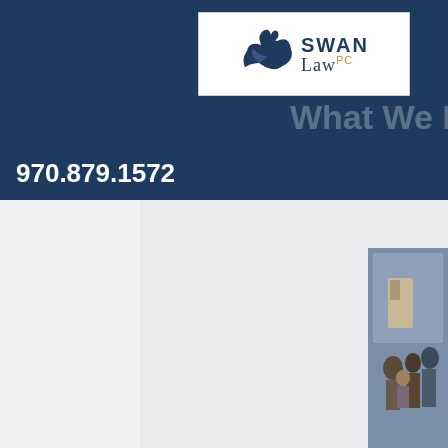[Figure (logo): Swan Law PC logo with stylized swan graphic and text]
What We Do
970.879.1572
[Figure (photo): Family photo showing adults and children outside a home]
Estate Planning & Administration
You love your family more than anything. You want to make their lives as easy as possible.
Whether you have questions about guardianship for minor children, or you're considering choices for your golden years, we have the experience to help you make